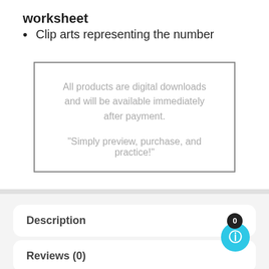worksheet
Clip arts representing the number
All products are digital downloads and will be available immediately after payment.
“Simply preview, purchase, and practice!”
Description
Reviews (0)